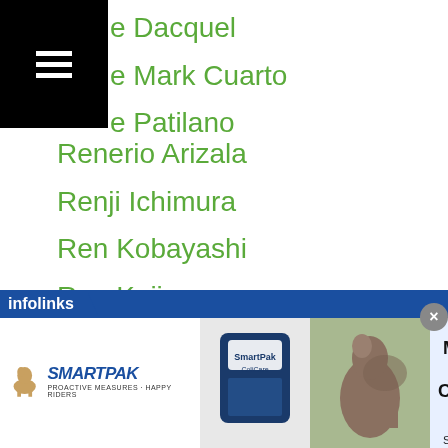e Dacquel
e Mark Cuarto
e Patilano
Renerio Arizala
Renji Ichimura
Ren Kobayashi
Ren Kojima
Renoel Pael
Renren Tesorio
Ren Sasaki
Rentaro Kimura
Ren Umemura
Renz Rosia
Reo Saito
Results
Retirement
[Figure (screenshot): SmartPak advertisement banner: 50% Off Two Months of ColiCare, ColiCare Eligible Supplements, CODE: COLICARE10, Shop Now button]